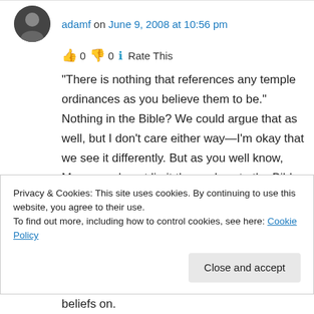adamf on June 9, 2008 at 10:56 pm
👍 0 👎 0 ℹ Rate This
“There is nothing that references any temple ordinances as you believe them to be.” Nothing in the Bible? We could argue that as well, but I don’t care either way—I’m okay that we see it differently. But as you well know, Mormons do not limit themselves to the Bible.
Privacy & Cookies: This site uses cookies. By continuing to use this website, you agree to their use.
To find out more, including how to control cookies, see here: Cookie Policy
Close and accept
beliefs on.